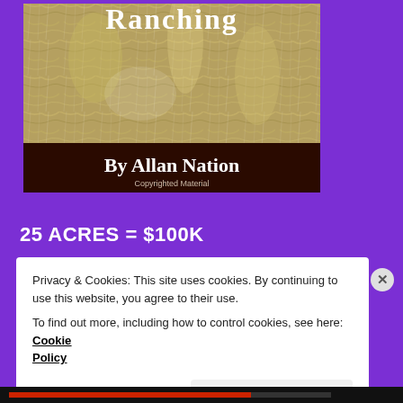[Figure (illustration): Book cover image showing textured background with 'Ranching' title text at top and 'By Allan Nation' in white text on dark brown band, with 'Copyrighted Material' in small text below]
25 ACRES = $100K
Privacy & Cookies: This site uses cookies. By continuing to use this website, you agree to their use.
To find out more, including how to control cookies, see here: Cookie Policy
Close and accept